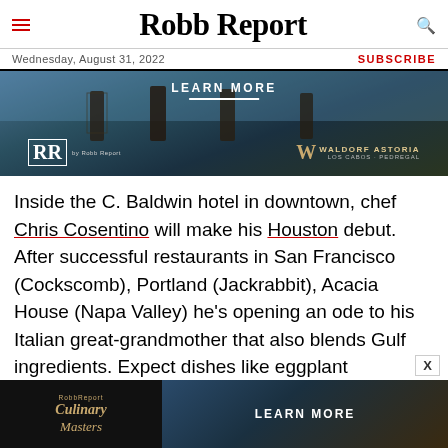Robb Report
Wednesday, August 31, 2022 | SUBSCRIBE
[Figure (photo): Advertisement banner for Waldorf Astoria Los Cabos Pedregal by Robb Report, showing outdoor lanterns and ocean view. Text: LEARN MORE]
Inside the C. Baldwin hotel in downtown, chef Chris Cosentino will make his Houston debut. After successful restaurants in San Francisco (Cockscomb), Portland (Jackrabbit), Acacia House (Napa Valley) he’s opening an ode to his Italian great-grandmother that also blends Gulf ingredients. Expect dishes like eggplant parmesan with Rosalie’s Sunday gravy, Gulf
[Figure (photo): Advertisement banner for Robb Report Culinary Masters with beach/resort imagery. Text: LEARN MORE]